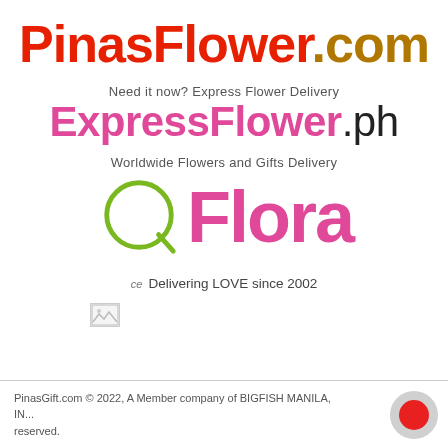[Figure (logo): PinasFlower.com logo in red and olive/gold colors]
Need it now? Express Flower Delivery
[Figure (logo): ExpressFlower.ph logo in pink and black]
Worldwide Flowers and Gifts Delivery
[Figure (logo): QFlora logo with green Q circle and pink Flora text]
ce  Delivering LOVE since 2002
PinasGift.com © 2022, A Member company of BIGFISH MANILA, IN... reserved.